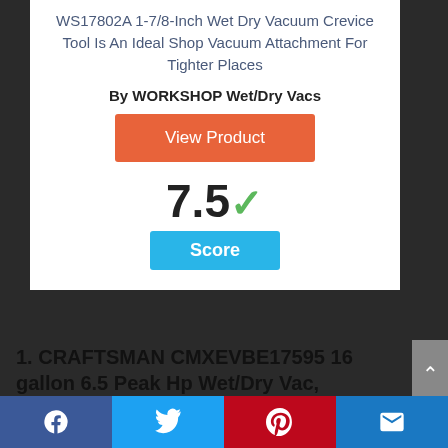WS17802A 1-7/8-Inch Wet Dry Vacuum Crevice Tool Is An Ideal Shop Vacuum Attachment For Tighter Places
By WORKSHOP Wet/Dry Vacs
View Product
7.5 ✓
Score
1. CRAFTSMAN CMXEVBE17595 16 gallon 6.5 Peak Hp Wet/Dry Vac,